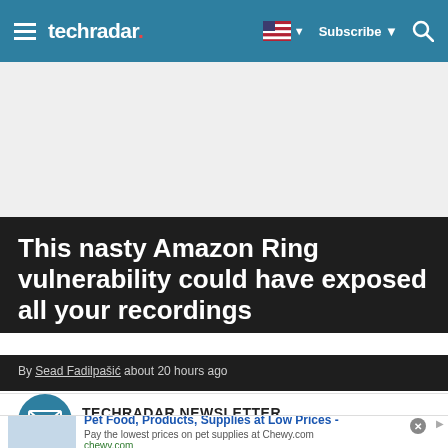techradar | Subscribe
[Figure (other): Gray advertisement placeholder rectangle]
This nasty Amazon Ring vulnerability could have exposed all your recordings
By Sead Fadilpašić about 20 hours ago
[Figure (infographic): TechRadar Newsletter icon with envelope symbol in teal circle]
TECHRADAR NEWSLETTER
[Figure (screenshot): Advertisement: Pet Food, Products, Supplies at Low Prices - Chewy.com. Pay the lowest prices on pet supplies at Chewy.com]